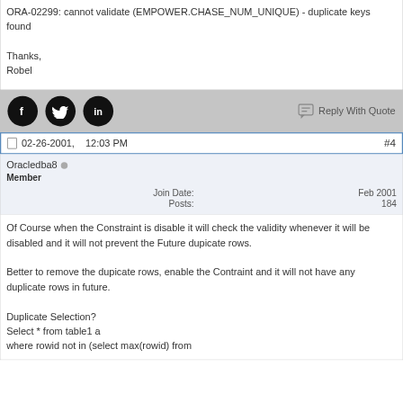ORA-02299: cannot validate (EMPOWER.CHASE_NUM_UNIQUE) - duplicate keys found

Thanks,
Robel
[Figure (other): Social share icons (Facebook, Twitter, LinkedIn) and Reply With Quote button]
02-26-2001,   12:03 PM   #4
Oracledba8
Member
Join Date: Feb 2001
Posts: 184
Of Course when the Constraint is disable it will check the validity whenever it will be disabled and it will not prevent the Future dupicate rows.

Better to remove the dupicate rows, enable the Contraint and it will not have any duplicate rows in future.

Duplicate Selection?
Select * from table1 a
where rowid not in (select max(rowid) from